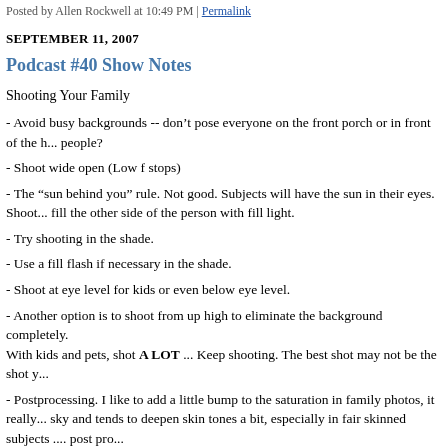Posted by Allen Rockwell at 10:49 PM | Permalink
SEPTEMBER 11, 2007
Podcast #40 Show Notes
Shooting Your Family
- Avoid busy backgrounds -- don't pose everyone on the front porch or in front of the house... people?
- Shoot wide open (Low f stops)
- The “sun behind you” rule. Not good. Subjects will have the sun in their eyes. Shoot... fill the other side of the person with fill light.
- Try shooting in the shade.
- Use a fill flash if necessary in the shade.
- Shoot at eye level for kids or even below eye level.
- Another option is to shoot from up high to eliminate the background completely. With kids and pets, shot A LOT ... Keep shooting. The best shot may not be the shot y...
- Postprocessing. I like to add a little bump to the saturation in family photos, it really... sky and tends to deepen skin tones a bit, especially in fair skinned subjects .... post pro...